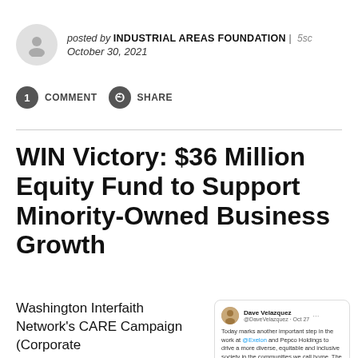posted by INDUSTRIAL AREAS FOUNDATION | 5sc
October 30, 2021
1 COMMENT   SHARE
WIN Victory: $36 Million Equity Fund to Support Minority-Owned Business Growth
Washington Interfaith Network's CARE Campaign (Corporate
[Figure (screenshot): Tweet by Dave Velazquez @DaveVelazquez · Oct 27: Today marks another important step in the work at @Exelon and Pepco Holdings to drive a more diverse, equitable and inclusive society in the communities we call home. The Racial Equity Capital Fund will address disparities in two critical areas: helping small minority businesses]